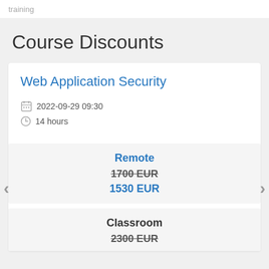training
Course Discounts
Web Application Security
2022-09-29 09:30
14 hours
Remote
1700 EUR
1530 EUR
Classroom
2300 EUR